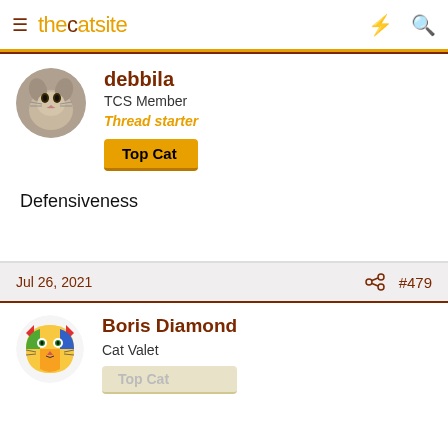thecatsite
debbila
TCS Member
Thread starter
Top Cat
Defensiveness
Jul 26, 2021  #479
Boris Diamond
Cat Valet
Top Cat